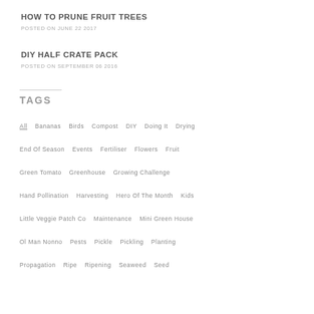HOW TO PRUNE FRUIT TREES
POSTED ON JUNE 22 2017
DIY HALF CRATE PACK
POSTED ON SEPTEMBER 06 2016
TAGS
All  Bananas  Birds  Compost  DIY  Doing It  Drying
End Of Season  Events  Fertiliser  Flowers  Fruit
Green Tomato  Greenhouse  Growing Challenge
Hand Pollination  Harvesting  Hero Of The Month  Kids
Little Veggie Patch Co  Maintenance  Mini Green House
Ol Man Nonno  Pests  Pickle  Pickling  Planting
Propagation  Ripe  Ripening  Seaweed  Seed